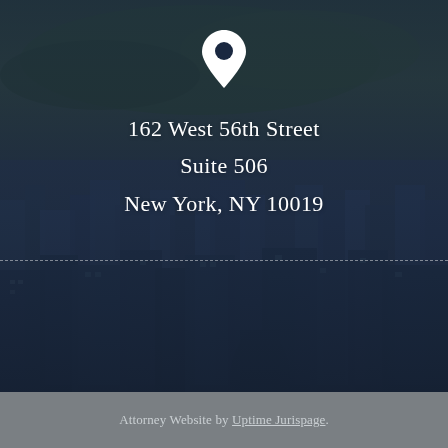[Figure (photo): Aerial photograph of New York City skyline with Central Park visible in the background, overlaid with a dark blue semi-transparent color wash. A white map pin / location marker icon is centered near the top of the image. A faint dotted horizontal line divides the upper and lower halves of the image.]
162 West 56th Street
Suite 506
New York, NY 10019
Attorney Website by Uptime Jurispage.